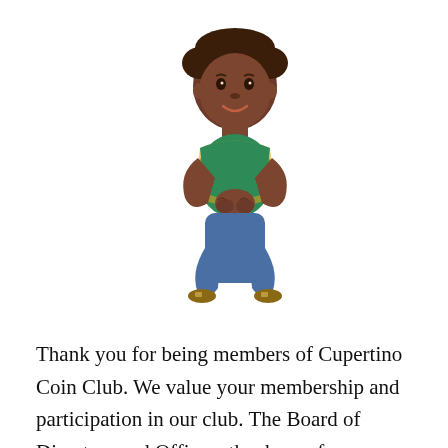[Figure (illustration): Cartoon illustration of a young boy with dark curly hair, wearing a yellow and green outfit, kneeling and clasping hands together as if praying or begging. He has a brown skin tone and a gentle expression.]
Thank you for being members of Cupertino Coin Club. We value your membership and participation in our club. The Board of Directors and Officers thank you for pledging to support us at the April induction in our efforts to keep this club thriving. COVID has had a negative impact on the club. We were not able to hold a show in 2021. The clock is running on lead time needed to put on a show in 2022. Costs are rising everywhere. The club